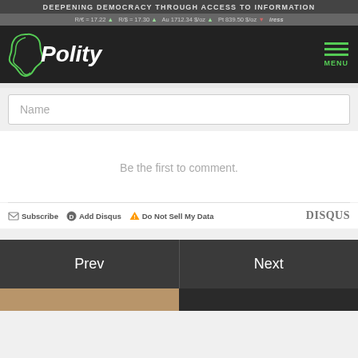DEEPENING DEMOCRACY THROUGH ACCESS TO INFORMATION
R/€ = 17.22 ▲  R/$ = 17.30 ▲  Au 1712.34 $/oz ▲  Pt 839.50 $/oz ▼  iress
[Figure (logo): Polity logo with green Africa outline and white italic Polity text on dark background, with green hamburger menu and MENU label]
Name
Be the first to comment.
Subscribe  Add Disqus  Do Not Sell My Data  DISQUS
Prev
Next